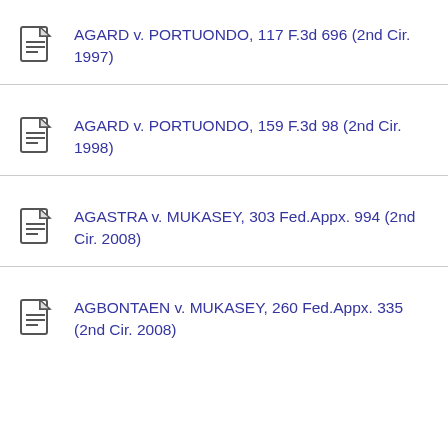AGARD v. PORTUONDO, 117 F.3d 696 (2nd Cir. 1997)
AGARD v. PORTUONDO, 159 F.3d 98 (2nd Cir. 1998)
AGASTRA v. MUKASEY, 303 Fed.Appx. 994 (2nd Cir. 2008)
AGBONTAEN v. MUKASEY, 260 Fed.Appx. 335 (2nd Cir. 2008)